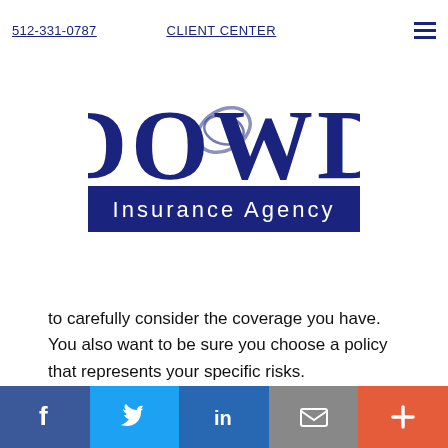512-331-0787   CLIENT CENTER
[Figure (logo): DOWD Insurance Agency logo with large serif DOWD text and dark navy banner reading Insurance Agency]
to carefully consider the coverage you have. You also want to be sure you choose a policy that represents your specific risks. READ MORE >>
[Figure (other): Accessibility icon in circle at bottom left]
Social media bar: Facebook, Twitter, LinkedIn, Email, More